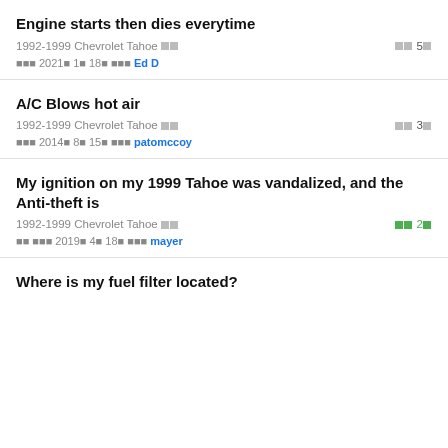Engine starts then dies everytime
1992-1999 Chevrolet Tahoe ■■   ■■ 5■
■■■ 2021■ 1■ 18■ ■■■ Ed D
A/C Blows hot air
1992-1999 Chevrolet Tahoe ■■   ■■ 3■
■■■ 2014■ 8■ 15■ ■■■ patomccoy
My ignition on my 1999 Tahoe was vandalized, and the Anti-theft is
1992-1999 Chevrolet Tahoe ■■   ■■ 2■
■■ ■■■ 2019■ 4■ 18■ ■■■ mayer
Where is my fuel filter located?